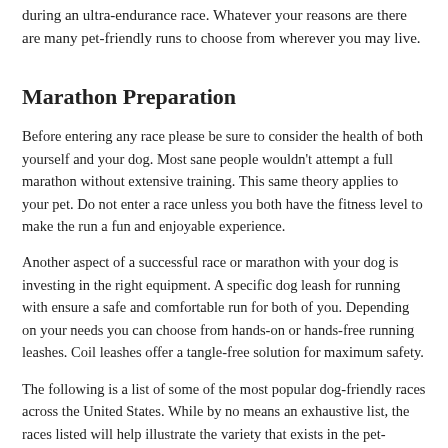during an ultra-endurance race. Whatever your reasons are there are many pet-friendly runs to choose from wherever you may live.
Marathon Preparation
Before entering any race please be sure to consider the health of both yourself and your dog. Most sane people wouldn't attempt a full marathon without extensive training. This same theory applies to your pet. Do not enter a race unless you both have the fitness level to make the run a fun and enjoyable experience.
Another aspect of a successful race or marathon with your dog is investing in the right equipment. A specific dog leash for running with ensure a safe and comfortable run for both of you. Depending on your needs you can choose from hands-on or hands-free running leashes. Coil leashes offer a tangle-free solution for maximum safety.
The following is a list of some of the most popular dog-friendly races across the United States. While by no means an exhaustive list, the races listed will help illustrate the variety that exists in the pet-friendly running arena.